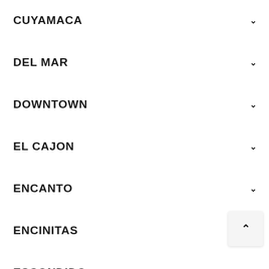CUYAMACA
DEL MAR
DOWNTOWN
EL CAJON
ENCANTO
ENCINITAS
ESCONDIDO
FALLBROOK